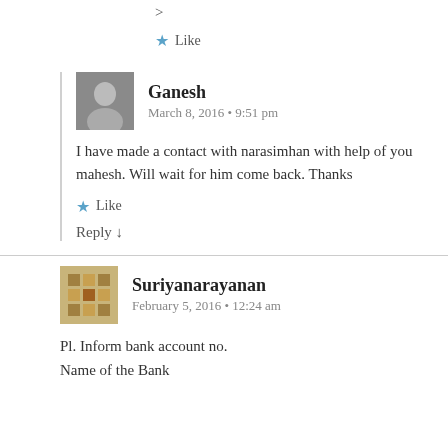> Like
Ganesh
March 8, 2016 • 9:51 pm
I have made a contact with narasimhan with help of you mahesh. Will wait for him come back. Thanks
Like
Reply ↓
Suriyanarayanan
February 5, 2016 • 12:24 am
Pl. Inform bank account no.
Name of the Bank